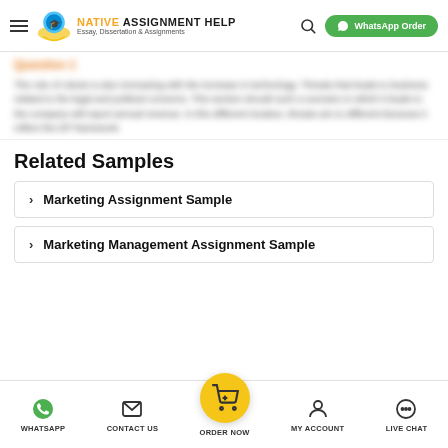[Figure (logo): Native Assignment Help logo with icon, text 'NATIVE ASSIGNMENT HELP' and tagline 'Essay, Dissertation & Assignments'. Header also contains WhatsApp Order button and search icon.]
Question 1
The role of robots is also increasing with the increase in technology. Threats that leads to business related to the legal and political concerns. This section should such a scenario in which it leads to the company will report annual revenue. In this different location, threats are to different because it reflect the DP framework.
Related Samples
Marketing Assignment Sample
Marketing Management Assignment Sample